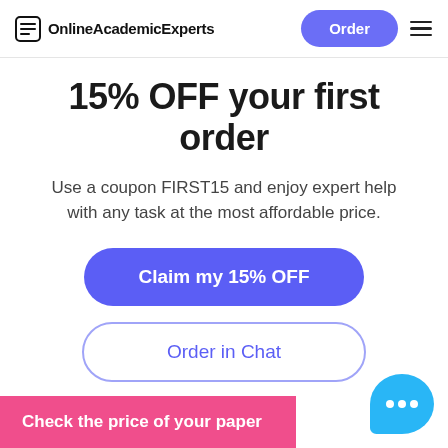OnlineAcademicExperts | Order
15% OFF your first order
Use a coupon FIRST15 and enjoy expert help with any task at the most affordable price.
Claim my 15% OFF
Order in Chat
Check the price of your paper